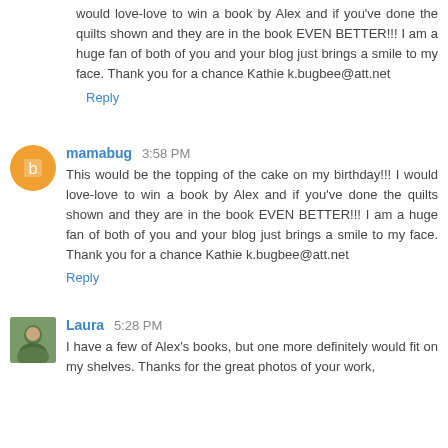would love-love to win a book by Alex and if you've done the quilts shown and they are in the book EVEN BETTER!!! I am a huge fan of both of you and your blog just brings a smile to my face. Thank you for a chance Kathie k.bugbee@att.net
Reply
mamabug 3:58 PM
This would be the topping of the cake on my birthday!!! I would love-love to win a book by Alex and if you've done the quilts shown and they are in the book EVEN BETTER!!! I am a huge fan of both of you and your blog just brings a smile to my face. Thank you for a chance Kathie k.bugbee@att.net
Reply
Laura 5:28 PM
I have a few of Alex's books, but one more definitely would fit on my shelves. Thanks for the great photos of your work,